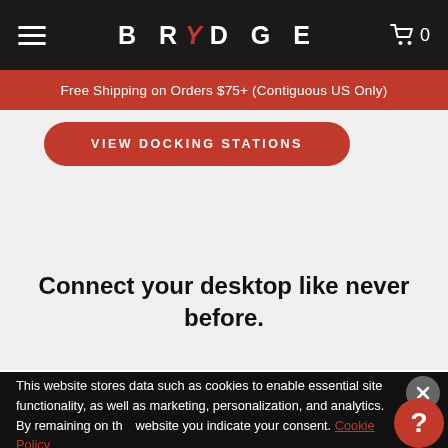BRYDGE — Navigation bar with hamburger menu and cart (0 items)
Free Shipping on Orders $75+ (Contiguous US Only)
VIEW DOCKING STATIONS
Connect your desktop like never before.
This website stores data such as cookies to enable essential site functionality, as well as marketing, personalization, and analytics. By remaining on this website you indicate your consent. Cookie Policy